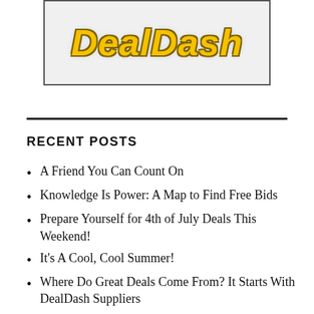[Figure (logo): DealDash logo — stylized italic text in gold/yellow with dark outline on a light gray background with border]
RECENT POSTS
A Friend You Can Count On
Knowledge Is Power: A Map to Find Free Bids
Prepare Yourself for 4th of July Deals This Weekend!
It's A Cool, Cool Summer!
Where Do Great Deals Come From? It Starts With DealDash Suppliers